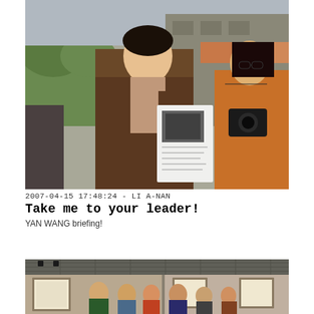[Figure (photo): Outdoor photo of a man in a brown blazer holding up a printed document/paper with an image on it, with a woman in an orange jacket with a camera standing to his right, urban street background with trees and buildings]
2007-04-15 17:48:24 - LI A-NAN
Take me to your leader!
YAN WANG briefing!
[Figure (photo): Indoor gallery/exhibition space photo showing a group of people standing in front of framed artwork on walls, industrial ceiling with track lighting]